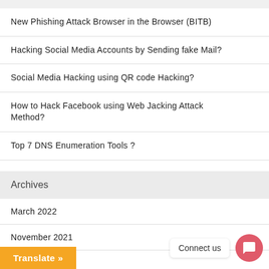New Phishing Attack Browser in the Browser (BITB)
Hacking Social Media Accounts by Sending fake Mail?
Social Media Hacking using QR code Hacking?
How to Hack Facebook using Web Jacking Attack Method?
Top 7 DNS Enumeration Tools ?
Archives
March 2022
November 2021
October 2021
September 2021